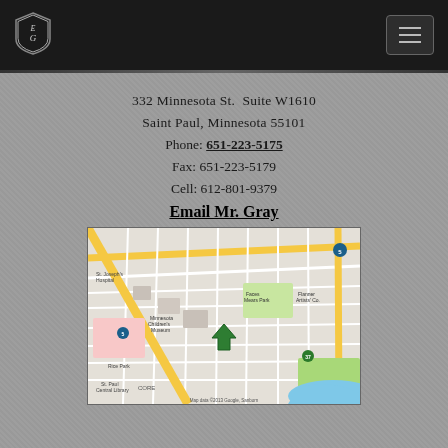[Figure (logo): Shield/crest logo with letters E and G, white on dark background]
332 Minnesota St. Suite W1610
Saint Paul, Minnesota 55101
Phone: 651-223-5175
Fax: 651-223-5179
Cell: 612-801-9379
Email Mr. Gray
[Figure (map): Google Maps screenshot showing downtown Saint Paul, Minnesota. Map data ©2013 Google, Sanborn. Shows location marker near Minnesota Children's Museum area at 332 Minnesota St.]